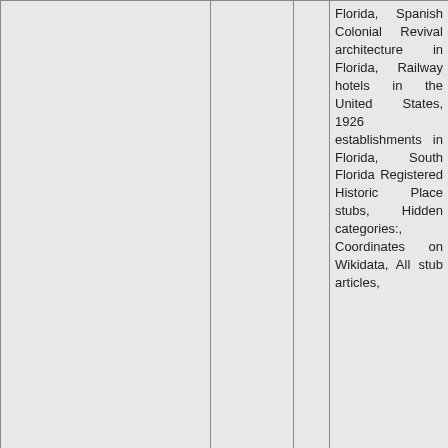| [nav/map] | [place name] | [link] | [categories] |  |
| --- | --- | --- | --- | --- |
|  |  |  | Florida, Spanish Colonial Revival architecture in Florida, Railway hotels in the United States, 1926 establishments in Florida, South Florida Registered Historic Place stubs, Hidden categories:, Coordinates on Wikidata, All stub articles, |  |
| 99: 20.5mi [icons] | South Beach, Florida | [link icon] | Census-designated places in Indian River County, Florida, Census-designated places in Florida, Populated coastal places... |  |